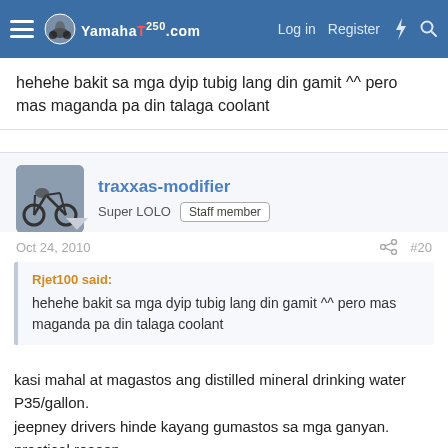YamahaT [logo] — Log in  Register  [flash icon]  [search icon]
hehehe bakit sa mga dyip tubig lang din gamit ^^ pero mas maganda pa din talaga coolant
traxxas-modifier
Super LOLO  [Staff member]
Oct 24, 2010   #20
Rjet100 said:
hehehe bakit sa mga dyip tubig lang din gamit ^^ pero mas maganda pa din talaga coolant
kasi mahal at magastos ang distilled mineral drinking water P35/gallon.
jeepney drivers hinde kayang gumastos sa mga ganyan.
practical reason...